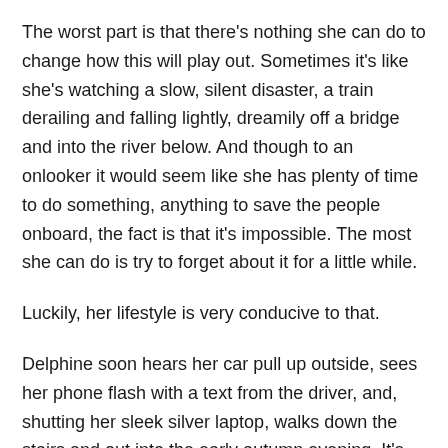The worst part is that there’s nothing she can do to change how this will play out. Sometimes it’s like she’s watching a slow, silent disaster, a train derailing and falling lightly, dreamily off a bridge and into the river below. And though to an onlooker it would seem like she has plenty of time to do something, anything to save the people onboard, the fact is that it’s impossible. The most she can do is try to forget about it for a little while.
Luckily, her lifestyle is very conducive to that.
Delphine soon hears her car pull up outside, sees her phone flash with a text from the driver, and, shutting her sleek silver laptop, walks down the stairs and out into the early autumn evening. It’s warm out, too warm for her coat, really, but Delphine doesn’t mind. The man holds the